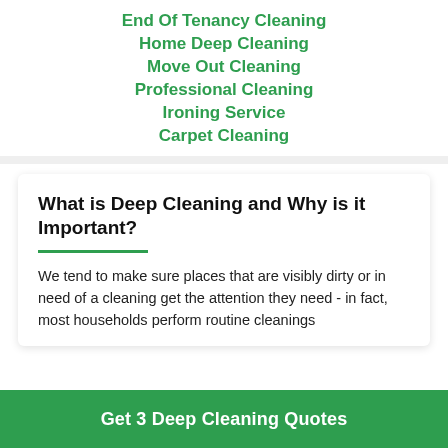End Of Tenancy Cleaning
Home Deep Cleaning
Move Out Cleaning
Professional Cleaning
Ironing Service
Carpet Cleaning
What is Deep Cleaning and Why is it Important?
We tend to make sure places that are visibly dirty or in need of a cleaning get the attention they need - in fact, most households perform routine cleanings
Get 3 Deep Cleaning Quotes